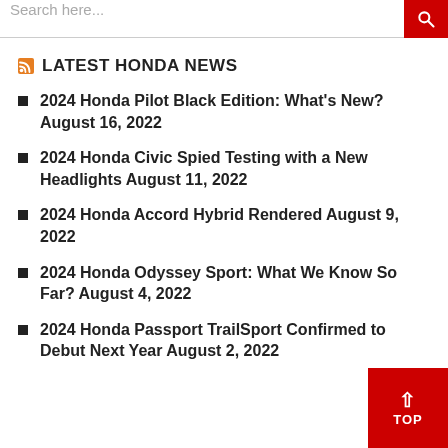Search here...
LATEST HONDA NEWS
2024 Honda Pilot Black Edition: What's New? August 16, 2022
2024 Honda Civic Spied Testing with a New Headlights August 11, 2022
2024 Honda Accord Hybrid Rendered August 9, 2022
2024 Honda Odyssey Sport: What We Know So Far? August 4, 2022
2024 Honda Passport TrailSport Confirmed to Debut Next Year August 2, 2022